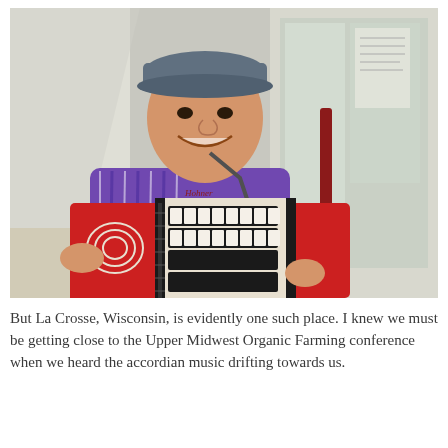[Figure (photo): A smiling young man wearing a grey cap and purple striped polo shirt, playing a large red and white accordion. He is standing near a large window/glass door. The accordion has black and white keys visible.]
But La Crosse, Wisconsin, is evidently one such place. I knew we must be getting close to the Upper Midwest Organic Farming conference when we heard the accordian music drifting towards us.